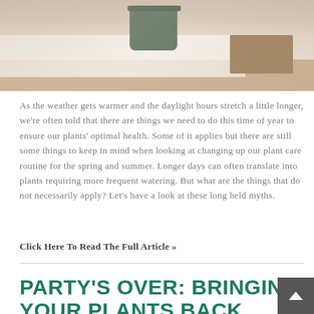[Figure (photo): Photo of a green plant pot on a white surface with a wooden block/board in the background on a light wood floor]
As the weather gets warmer and the daylight hours stretch a little longer, we're often told that there are things we need to do this time of year to ensure our plants' optimal health. Some of it applies but there are still some things to keep in mind when looking at changing up our plant care routine for the spring and summer. Longer days can often translate into plants requiring more frequent watering. But what are the things that do not necessarily apply? Let's have a look at these long held myths.
Click Here To Read The Full Article »
PARTY'S OVER: BRINGING YOUR PLANTS BACK